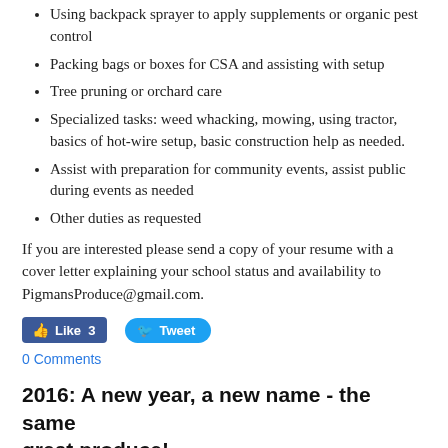Using backpack sprayer to apply supplements or organic pest control
Packing bags or boxes for CSA and assisting with setup
Tree pruning or orchard care
Specialized tasks: weed whacking, mowing, using tractor, basics of hot-wire setup, basic construction help as needed.
Assist with preparation for community events, assist public during events as needed
Other duties as requested
If you are interested please send a copy of your resume with a cover letter explaining your school status and availability to PigmansProduce@gmail.com.
[Figure (other): Social media buttons: Facebook Like (3) and Twitter Tweet]
0 Comments
2016:  A new year, a new name - the same great produce!